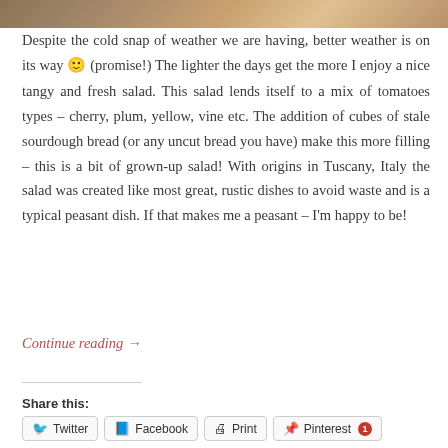[Figure (photo): Partial photo strip at top showing food (tomatoes/salad) on a plate]
Despite the cold snap of weather we are having, better weather is on its way 🙂 (promise!) The lighter the days get the more I enjoy a nice tangy and fresh salad. This salad lends itself to a mix of tomatoes types – cherry, plum, yellow, vine etc. The addition of cubes of stale sourdough bread (or any uncut bread you have) make this more filling – this is a bit of grown-up salad! With origins in Tuscany, Italy the salad was created like most great, rustic dishes to avoid waste and is a typical peasant dish. If that makes me a peasant – I'm happy to be!
Continue reading →
Share this:
Twitter  Facebook  Print  Pinterest 1